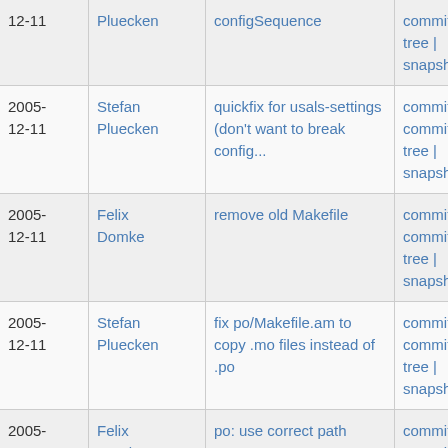| Date | Author | Message | Links |
| --- | --- | --- | --- |
| 2005-12-11 |  | configSequence | commitdiff | tree | snapshot |
| 2005-12-11 | Stefan Pluecken | quickfix for usals-settings (don't want to break config... | commit | commitdiff | tree | snapshot |
| 2005-12-11 | Felix Domke | remove old Makefile | commit | commitdiff | tree | snapshot |
| 2005-12-11 | Stefan Pluecken | fix po/Makefile.am to copy .mo files instead of .po | commit | commitdiff | tree | snapshot |
| 2005-12-11 | Felix Domke | po: use correct path | commit | commitdiff | tree | snapshot |